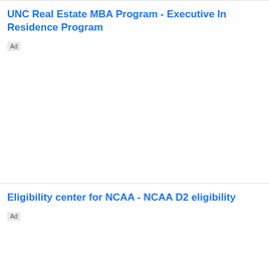UNC Real Estate MBA Program - Executive In Residence Program
Ad
Eligibility center for NCAA - NCAA D2 eligibility
Ad